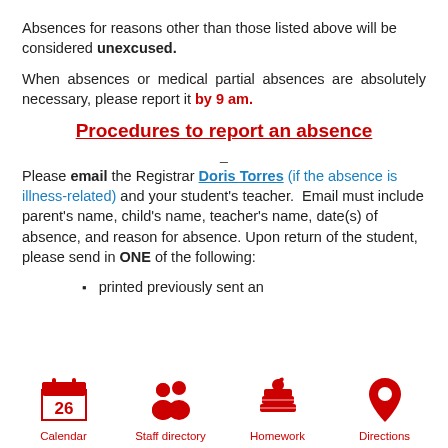Absences for reasons other than those listed above will be considered unexcused.
When absences or medical partial absences are absolutely necessary, please report it by 9 am.
Procedures to report an absence
Please email the Registrar Doris Torres (if the absence is illness-related) and your student's teacher. Email must include parent's name, child's name, teacher's name, date(s) of absence, and reason for absence. Upon return of the student, please send in ONE of the following:
printed previously sent an
[Figure (infographic): Four footer icons in red: Calendar (showing 26), Staff directory (two people), Homework (books with apple), Directions (map pin)]